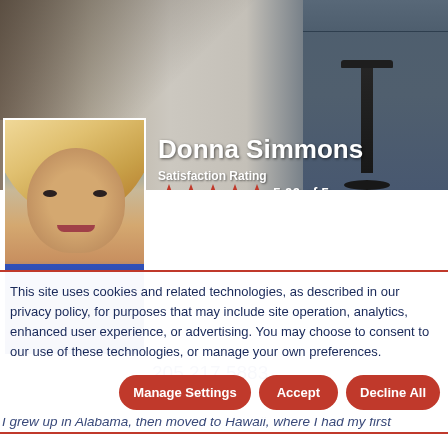[Figure (photo): Hero banner background showing a modern kitchen with dark gray cabinets, light tile floor, and a black bar stool]
[Figure (photo): Profile photo of Donna Simmons, a blonde woman in a blue top]
Donna Simmons
Satisfaction Rating
5.00 of 5
205.217.5883
I grew up in Alabama, then moved to Hawaii, where I had my first
This site uses cookies and related technologies, as described in our privacy policy, for purposes that may include site operation, analytics, enhanced user experience, or advertising. You may choose to consent to our use of these technologies, or manage your own preferences.
Manage Settings
Accept
Decline All